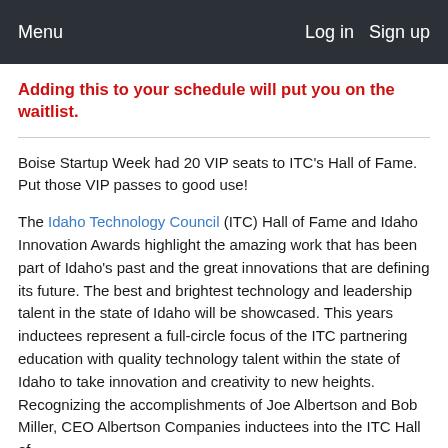Menu   Log in   Sign up
Adding this to your schedule will put you on the waitlist.
Boise Startup Week had 20 VIP seats to ITC's Hall of Fame. Put those VIP passes to good use!
The Idaho Technology Council (ITC) Hall of Fame and Idaho Innovation Awards highlight the amazing work that has been part of Idaho's past and the great innovations that are defining its future. The best and brightest technology and leadership talent in the state of Idaho will be showcased. This years inductees represent a full-circle focus of the ITC partnering education with quality technology talent within the state of Idaho to take innovation and creativity to new heights. Recognizing the accomplishments of Joe Albertson and Bob Miller, CEO Albertson Companies inductees into the ITC Hall of